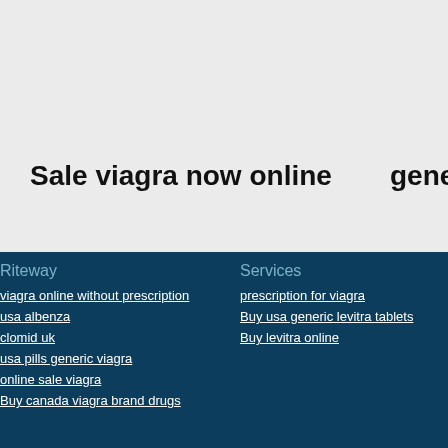Sale viagra now online
generic vi
Riteway
viagra online without prescription
usa albenza
clomid uk
usa pills generic viagra
online sale viagra
Buy canada viagra brand drugs
Services
prescription for viagra
Buy usa generic levitra tablets
Buy levitra online